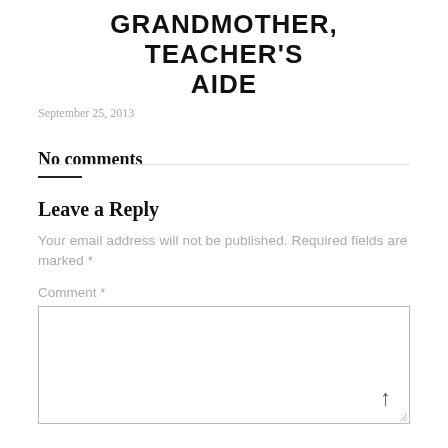GRANDMOTHER, TEACHER'S AIDE
September 25, 2013
No comments
Leave a Reply
Your email address will not be published. Required fields are marked *
Comment *